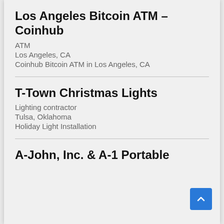Los Angeles Bitcoin ATM – Coinhub
ATM
Los Angeles, CA
Coinhub Bitcoin ATM in Los Angeles, CA
T-Town Christmas Lights
Lighting contractor
Tulsa, Oklahoma
Holiday Light Installation
A-John, Inc. & A-1 Portable